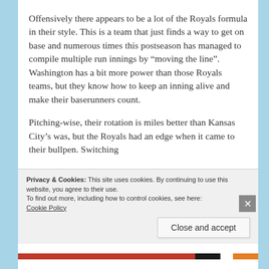Offensively there appears to be a lot of the Royals formula in their style. This is a team that just finds a way to get on base and numerous times this postseason has managed to compile multiple run innings by “moving the line”. Washington has a bit more power than those Royals teams, but they know how to keep an inning alive and make their baserunners count.
Pitching-wise, their rotation is miles better than Kansas City’s was, but the Royals had an edge when it came to their bullpen. Switching
Privacy & Cookies: This site uses cookies. By continuing to use this website, you agree to their use.
To find out more, including how to control cookies, see here: Cookie Policy
Close and accept